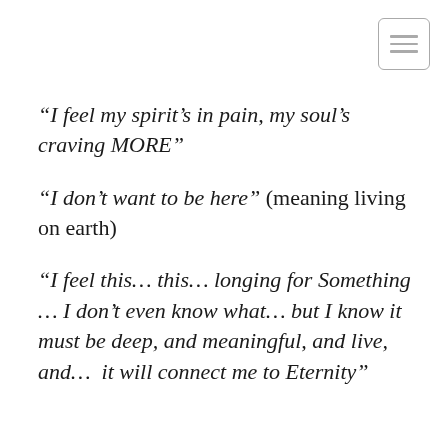[Figure (other): Hamburger menu icon — three horizontal lines inside a rounded rectangle border, positioned top-right]
“I feel my spirit’s in pain, my soul’s craving MORE”
“I don’t want to be here” (meaning living on earth)
“I feel this… this… longing for Something … I don’t even know what… but I know it must be deep, and meaningful, and live, and…  it will connect me to Eternity”